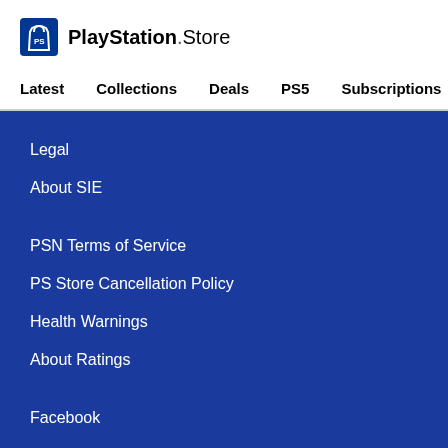[Figure (logo): PlayStation Store logo with shopping bag icon]
Latest   Collections   Deals   PS5   Subscriptions >
Legal
About SIE
PSN Terms of Service
PS Store Cancellation Policy
Health Warnings
About Ratings
Facebook